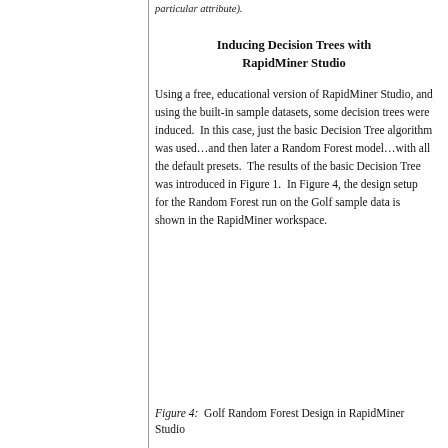particular attribute).
Inducing Decision Trees with RapidMiner Studio
Using a free, educational version of RapidMiner Studio, and using the built-in sample datasets, some decision trees were induced.  In this case, just the basic Decision Tree algorithm was used…and then later a Random Forest model…with all the default presets.  The results of the basic Decision Tree was introduced in Figure 1.  In Figure 4, the design setup for the Random Forest run on the Golf sample data is shown in the RapidMiner workspace.
Figure 4:  Golf Random Forest Design in RapidMiner Studio